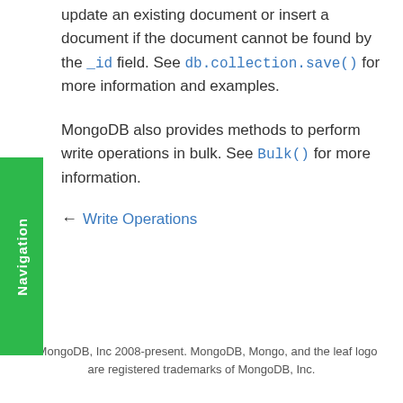update an existing document or insert a document if the document cannot be found by the _id field. See db.collection.save() for more information and examples.
MongoDB also provides methods to perform write operations in bulk. See Bulk() for more information.
← Write Operations
© MongoDB, Inc 2008-present. MongoDB, Mongo, and the leaf logo are registered trademarks of MongoDB, Inc.